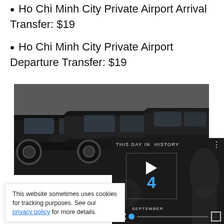Ho Chi Minh City Private Airport Arrival Transfer: $19
Ho Chi Minh City Private Airport Departure Transfer: $19
[Figure (photo): Black luxury/private vans parked side by side, with a 'More Options' label overlay in the bottom right]
Typical Local T...
[Figure (screenshot): Video widget showing 'THIS DAY IN HISTORY' with play button, number 4, SEPTEMBER label, mute icon, progress bar, and fullscreen icon]
This website sometimes uses cookies for tracking purposes. See our privacy policy for more details.